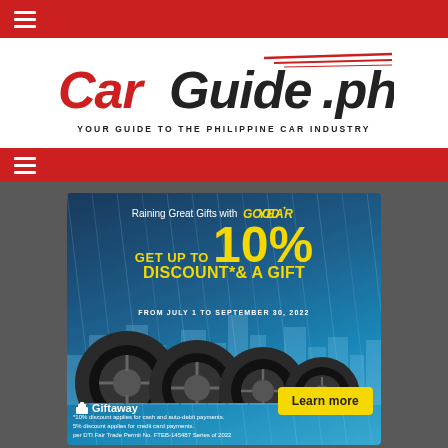CarGuide.ph - Your Guide to the Philippine Car Industry
[Figure (logo): CarGuide.ph logo with red Car text and dark Guide.ph text with red racing stripes, tagline: YOUR GUIDE TO THE PHILIPPINE CAR INDUSTRY]
[Figure (infographic): Goodyear advertisement banner: Raining Great Gifts with Goodyear. GET UP TO 10% DISCOUNT* & A GIFT. FROM JULY 1 TO SEPTEMBER 30, 2022. Shows tires, Learn more button, Giftaway logo. Footnote: *10% discount applies for cash and auto-debit payments. 5% discount applies for credit card payments. per DTI Fair Trade Permit No. FTEB-145487 Series of 2022]